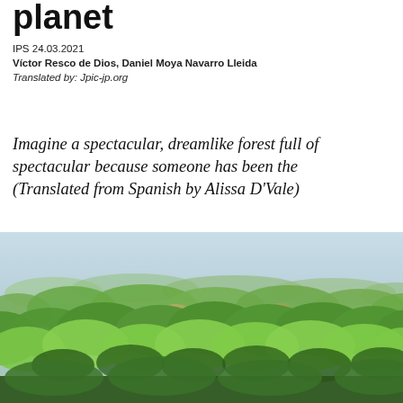planet
IPS 24.03.2021
Víctor Resco de Dios, Daniel Moya Navarro Lleida
Translated by: Jpic-jp.org
Imagine a spectacular, dreamlike forest full of spectacular because someone has been the (Translated from Spanish by Alissa D'Vale)
[Figure (photo): Aerial photograph of a dense tropical forest canopy, lush green treetops extending to the horizon under a hazy sky.]